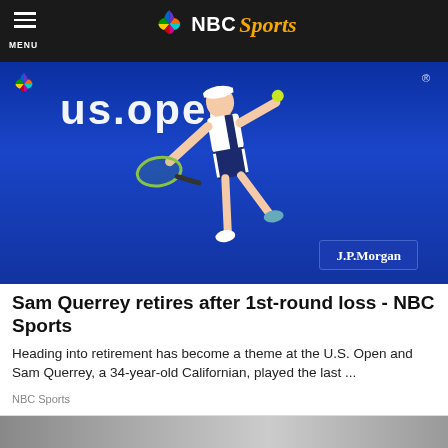NBC Sports
[Figure (photo): Tennis player Sam Querrey lunging to hit a shot at the US Open, with J.P. Morgan branding visible in background]
Sam Querrey retires after 1st-round loss - NBC Sports
Heading into retirement has become a theme at the U.S. Open and Sam Querrey, a 34-year-old Californian, played the last ...
NBC Sports
[Figure (photo): Partial view of a second article image at bottom of page]